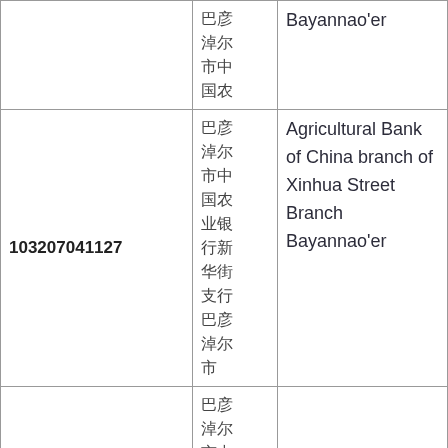|  | 巴彦淖尔市中国农业银行新华街支行 | Bayannao’er |
| 103207041127 | 巴彦淖尔市中国农业银行新华街支行 | Agricultural Bank of China branch of Xinhua Street Branch Bayannao’er |
|  | 巴彦淖尔市中国农业银行新华街支行 |  |